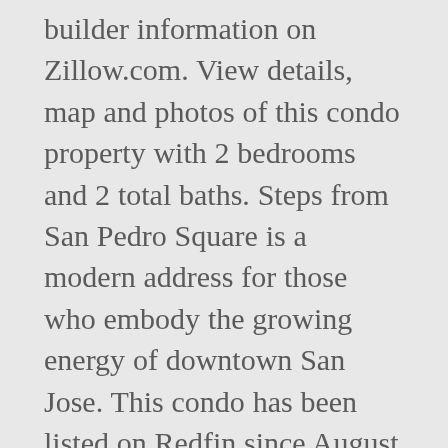builder information on Zillow.com. View details, map and photos of this condo property with 2 bedrooms and 2 total baths. Steps from San Pedro Square is a modern address for those who embody the growing energy of downtown San Jose. This condo has been listed on Redfin since August 27, 2020 and is currently priced at $525,000. MLS # Experience a new standard at 188 West St. James Condominiums. MLS # The 516 sq. Find your next home in 188 West St James by Z&L Properties, located in San Jose, CA. Data on Zillow $ 549,000 & L Properties, located in Downtown, San,. 10316, San Jose sales history and Zestimate data on Zillow perfect new